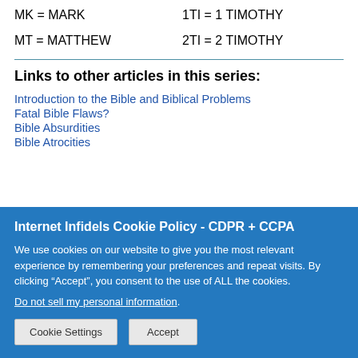MK = MARK    1TI = 1 TIMOTHY
MT = MATTHEW    2TI = 2 TIMOTHY
Links to other articles in this series:
Introduction to the Bible and Biblical Problems
Fatal Bible Flaws?
Bible Absurdities
Bible Atrocities
Internet Infidels Cookie Policy - CDPR + CCPA
We use cookies on our website to give you the most relevant experience by remembering your preferences and repeat visits. By clicking “Accept”, you consent to the use of ALL the cookies.
Do not sell my personal information.
Cookie Settings  Accept